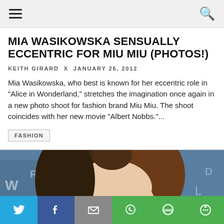≡  🔍
MIA WASIKOWSKA SENSUALLY ECCENTRIC FOR MIU MIU (PHOTOS!)
KEITH GIRARD  x  JANUARY 26, 2012
Mia Wasikowska, who best is known for her eccentric role in "Alice in Wonderland," stretches the imagination once again in a new photo shoot for fashion brand Miu Miu. The shoot coincides with her new movie "Albert Nobbs."...
FASHION
[Figure (photo): Close-up photo of Mia Wasikowska with brown hair, blue blurred background with partial white text visible]
[Figure (infographic): Social share bar with Twitter (blue), Facebook (dark blue), Email (gray), WhatsApp (green), SMS (green), More (green) buttons]